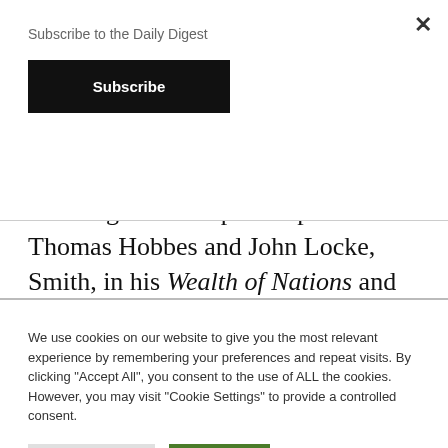Subscribe to the Daily Digest
Subscribe
notably Adam Smith — and the word took on a more political meaning. Drawing from the philosophies of Thomas Hobbes and John Locke, Smith, in his Wealth of Nations and
We use cookies on our website to give you the most relevant experience by remembering your preferences and repeat visits. By clicking "Accept All", you consent to the use of ALL the cookies. However, you may visit "Cookie Settings" to provide a controlled consent.
Cookie Settings
Accept All